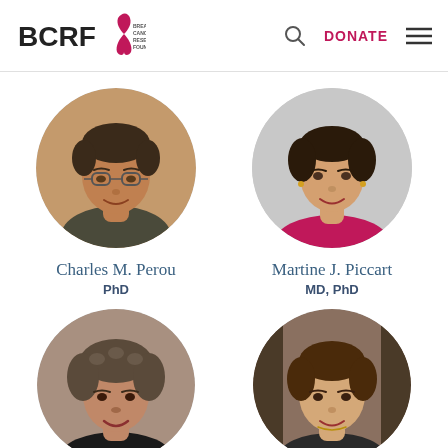[Figure (logo): BCRF Breast Cancer Research Foundation logo with pink ribbon]
[Figure (photo): Circular portrait photo of Charles M. Perou, a man with glasses]
Charles M. Perou
PhD
[Figure (photo): Circular portrait photo of Martine J. Piccart, a woman in pink scarf]
Martine J. Piccart
MD, PhD
[Figure (photo): Circular portrait photo of a woman with curly gray-black hair]
[Figure (photo): Circular portrait photo of a woman with brown hair]